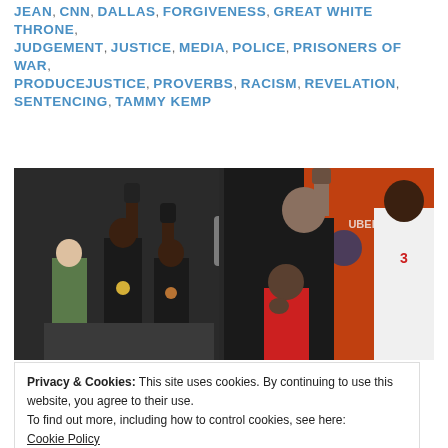JEAN, CNN, DALLAS, FORGIVENESS, GREAT WHITE THRONE, JUDGEMENT, JUSTICE, MEDIA, POLICE, PRISONERS OF WAR, PRODUCEJUSTICE, PROVERBS, RACISM, REVELATION, SENTENCING, TAMMY KEMP
[Figure (photo): Composite photo showing Black Power salute at 1968 Olympics on the left side, and NFL players including Colin Kaepernick kneeling/raising fist during national anthem on the right side, with a 'Teach Them Right' watermark overlay.]
Privacy & Cookies: This site uses cookies. By continuing to use this website, you agree to their use.
To find out more, including how to control cookies, see here:
Cookie Policy
Close and accept